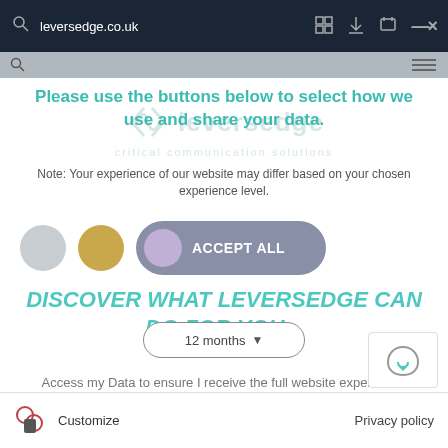leversedge.co.uk
Please use the buttons below to select how we use and share your data.
Note: Your experience of our website may differ based on your chosen experience level.
[Figure (screenshot): Cookie consent UI with grey circle, gold circle, purple toggle Accept All button, 12 months dropdown, discover watermark text, Save my preferences button, Back to Analogue Portables link]
DISCOVER WHAT LEVERSEDGE CAN DO FOR YOU...
Access my Data to ensure I receive the full website experience.
< BACK TO ANALOGUE PORTABLES
Save my preferences
Customize   Privacy policy   Terms